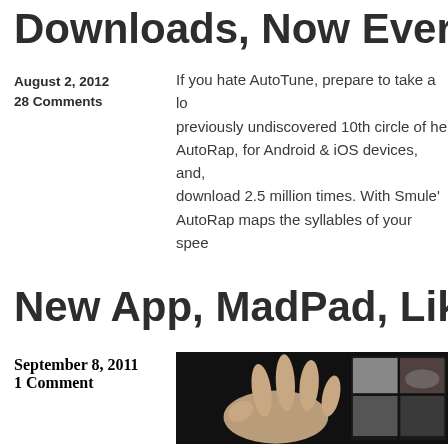Downloads, Now Everyone...
August 2, 2012
28 Comments
If you hate AutoTune, prepare to take a lo... previously undiscovered 10th circle of he... AutoRap, for Android & iOS devices, and, download 2.5 million times. With Smule's AutoRap maps the syllables of your spee...
New App, MadPad, Like An...
September 8, 2011
1 Comment
[Figure (photo): Person's hand touching a tablet device showing a grid of video thumbnails on a dark background.]